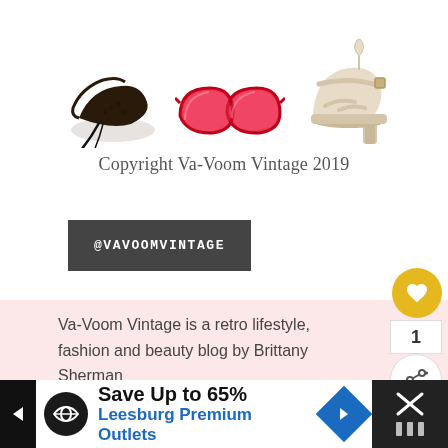[Figure (photo): Fashion product images: black lace-up flat shoes, red cat-eye sunglasses, and cream/beige platform heeled sandals on white background]
Copyright Va-Voom Vintage 2019
@VAVOOMVINTAGE
Va-Voom Vintage is a retro lifestyle, fashion and beauty blog by Brittany Sherman
[Figure (illustration): Social media icons row: Instagram, Pinterest, Facebook]
[Figure (other): Floating UI: heart/like button (gold), count bubble showing 1, share button]
WHAT'S NEXT → DIY Fashion Tutorials
Save Up to 65% Leesburg Premium Outlets